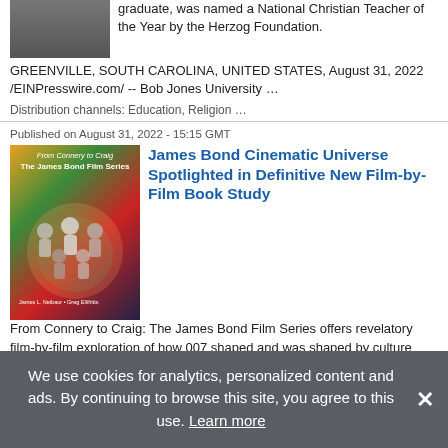graduate, was named a National Christian Teacher of the Year by the Herzog Foundation. GREENVILLE, SOUTH CAROLINA, UNITED STATES, August 31, 2022 /EINPresswire.com/ -- Bob Jones University …
Distribution channels: Education, Religion …
Published on August 31, 2022 - 15:15 GMT
[Figure (photo): Book cover for From Connery to Craig: The James Bond Film Series]
James Bond Cinematic Universe Spotlighted in Definitive New Film-by-Film Book Study
From Connery to Craig: The James Bond Film Series offers revelatory film-by-film exploration of how 007 shaped and was shaped by culture UNITED STATES, August 31, 2022 /EINPresswire.com/ -- Sixty years. Twenty-five films. Six actors. More than $ …
Distribution channels: Book Publishing Industry, Culture, Society & Lifestyle …
Published on August 31, 2022 - 14:25 GMT
Buggyra ZM Racing
We use cookies for analytics, personalized content and ads. By continuing to browse this site, you agree to this use. Learn more